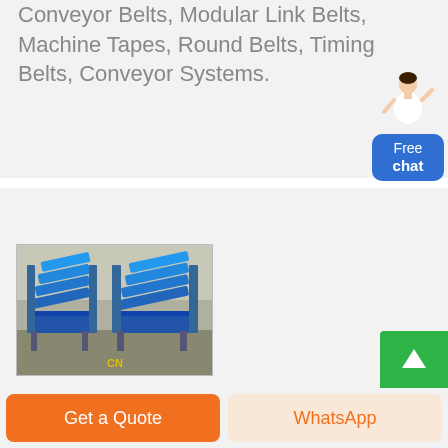Conveyor Belts, Modular Link Belts, Machine Tapes, Round Belts, Timing Belts, Conveyor Systems.
[Figure (photo): Industrial conveyor belt system machines (blue) displayed in a warehouse/factory floor. Two large belt conveyor units side by side with 'CN' watermark.]
Get a Quote
WhatsApp